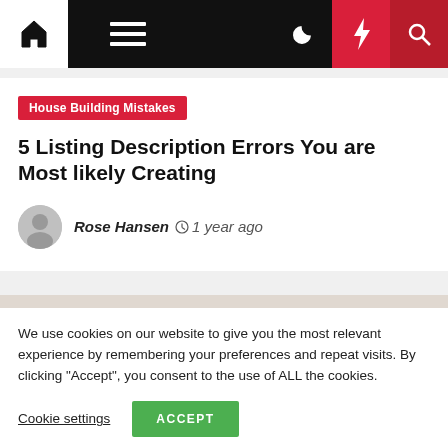House Building Mistakes — navigation bar with home, menu, moon, bolt, search icons
House Building Mistakes
5 Listing Description Errors You are Most likely Creating
Rose Hansen  1 year ago
We use cookies on our website to give you the most relevant experience by remembering your preferences and repeat visits. By clicking "Accept", you consent to the use of ALL the cookies.
Cookie settings   ACCEPT